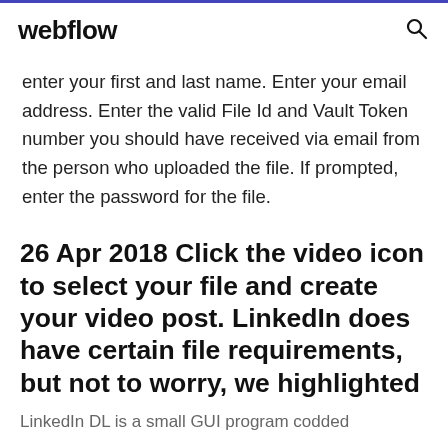webflow
enter your first and last name. Enter your email address. Enter the valid File Id and Vault Token number you should have received via email from the person who uploaded the file. If prompted, enter the password for the file.
26 Apr 2018 Click the video icon to select your file and create your video post. LinkedIn does have certain file requirements, but not to worry, we highlighted
LinkedIn DL is a small GUI program codded